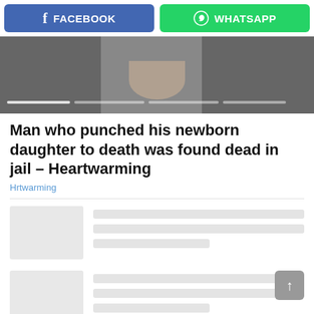[Figure (screenshot): Facebook and WhatsApp social share buttons side by side]
[Figure (photo): Cropped image showing a person's chin/lower face area with beard, with video progress bar lines at the bottom]
Man who punched his newborn daughter to death was found dead in jail – Heartwarming
Hrtwarming
[Figure (screenshot): Two skeleton loading placeholder related article cards with grey thumbnail boxes and grey line placeholders for text]